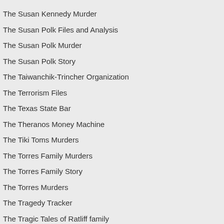The Susan Kennedy Murder
The Susan Polk Files and Analysis
The Susan Polk Murder
The Susan Polk Story
The Taiwanchik-Trincher Organization
The Terrorism Files
The Texas State Bar
The Theranos Money Machine
The Tiki Toms Murders
The Torres Family Murders
The Torres Family Story
The Torres Murders
The Tragedy Tracker
The Tragic Tales of Ratliff family
The Unarmed Candidate